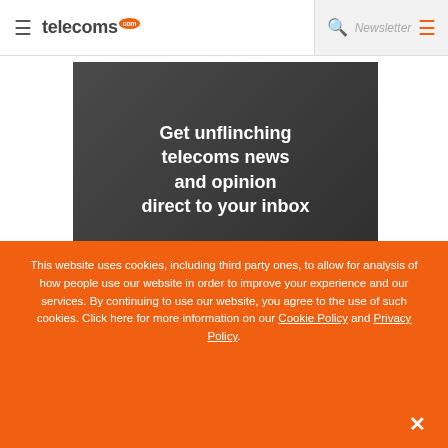telecoms.com — Newsletter
[Figure (screenshot): Dark grey banner with white bold text: Get unflinching telecoms news and opinion direct to your inbox]
This website uses cookies, including third party ones, to allow for analysis of how people use our website in order to improve your experience and our services. By continuing to use our website, you agree to the use of such cookies. Click here for more information on our Cookie Policy and Privacy Policy.